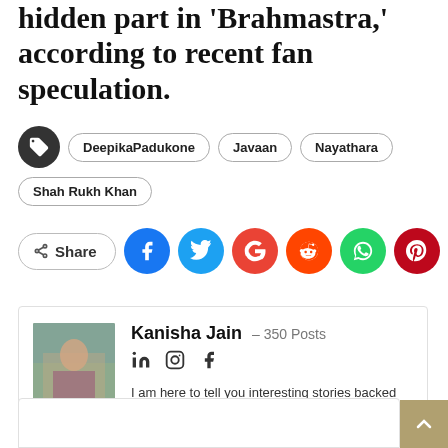hidden part in 'Brahmastra,' according to recent fan speculation.
Tags: DeepikaPadukone, Javaan, Nayathara, Shah Rukh Khan
Share (Facebook, Twitter, Google, Reddit, WhatsApp, Pinterest, Email)
Kanisha Jain – 350 Posts
I am here to tell you interesting stories backed with proper information.Truthful and thought reporting of an incident is my responsibility.